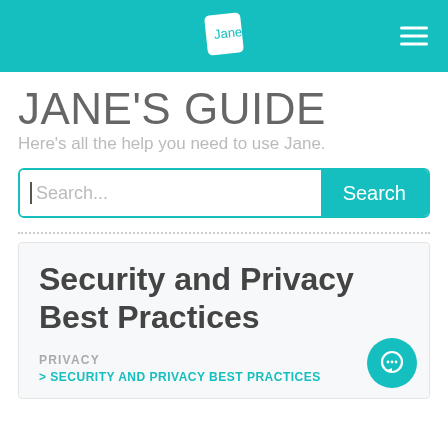[Figure (logo): Jane app logo and navigation bar with teal background, Jane logo in center, hamburger menu icon on right]
JANE'S GUIDE
Here's all the help you need to use Jane.
Search...
Security and Privacy Best Practices
PRIVACY
> SECURITY AND PRIVACY BEST PRACTICES